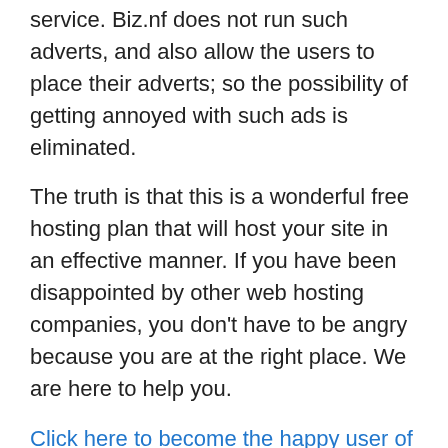service. Biz.nf does not run such adverts, and also allow the users to place their adverts; so the possibility of getting annoyed with such ads is eliminated.
The truth is that this is a wonderful free hosting plan that will host your site in an effective manner. If you have been disappointed by other web hosting companies, you don't have to be angry because you are at the right place. We are here to help you.
Click here to become the happy user of  biz.nf
Scripting